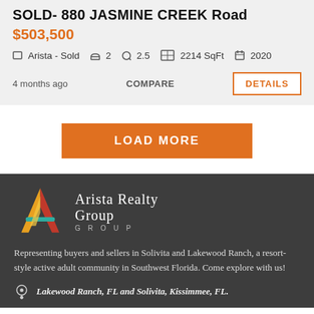SOLD- 880 JASMINE CREEK Road
$503,500
⌂ Arista - Sold  🛏 2  🛁 2.5  ⊡ 2214 SqFt  📅 2020
4 months ago
COMPARE
DETAILS
LOAD MORE
[Figure (logo): Arista Realty Group logo with colorful A lettermark in orange, yellow, red and teal]
Representing buyers and sellers in Solivita and Lakewood Ranch, a resort-style active adult community in Southwest Florida. Come explore with us!
Lakewood Ranch, FL and Solivita, Kissimmee, FL.